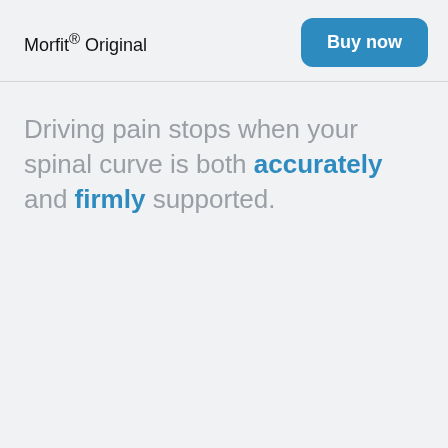Morfit® Original
Buy now
Driving pain stops when your spinal curve is both accurately and firmly supported.